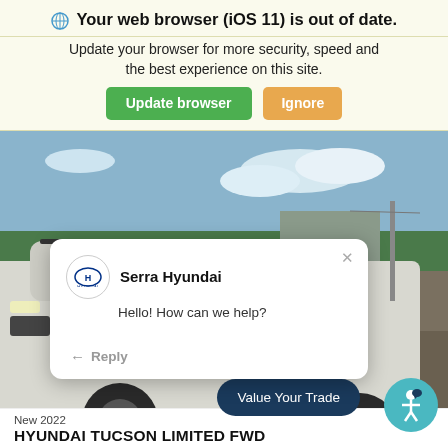Your web browser (iOS 11) is out of date.
Update your browser for more security, speed and the best experience on this site.
[Figure (screenshot): A white Hyundai Tucson SUV photographed in a parking lot with trees and hills in the background.]
[Figure (screenshot): Chat popup overlay from Serra Hyundai saying 'Hello! How can we help?' with a Reply button. Close X in top right corner.]
Value Your Trade
New 2022
HYUNDAI TUCSON LIMITED FWD